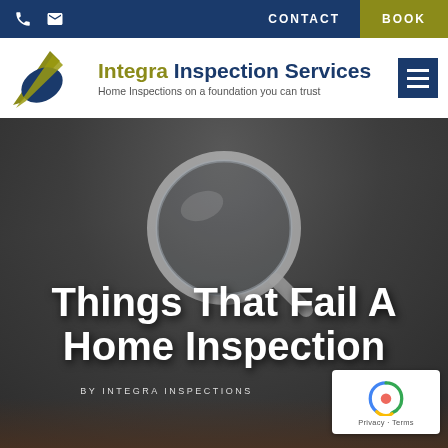CONTACT  BOOK
[Figure (logo): Integra Inspection Services logo with olive/dark-blue checkmark leaf graphic]
Integra Inspection Services
Home Inspections on a foundation you can trust
[Figure (photo): Person in dark suit holding a magnifying glass over a miniature house model, used as hero background image]
Things That Fail A Home Inspection
BY INTEGRA INSPECTIONS